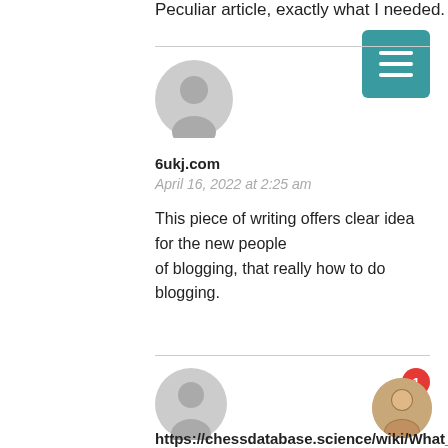Peculiar article, exactly what I needed.
[Figure (illustration): Gray default user avatar circle icon for comment 1]
6ukj.com
April 16, 2022 at 2:25 am
This piece of writing offers clear idea for the new people of blogging, that really how to do blogging.
[Figure (illustration): Gray default user avatar circle icon for comment 2]
https://chessdatabase.science/wiki/What_
April 16, 2022 at 2:28 am